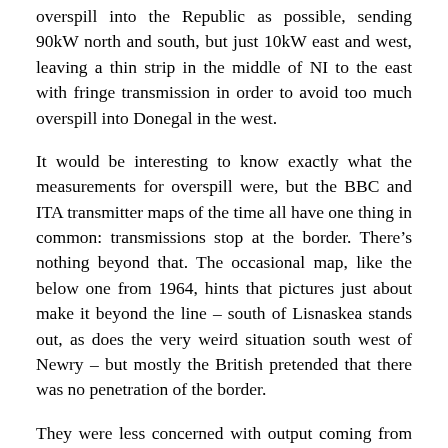overspill into the Republic as possible, sending 90kW north and south, but just 10kW east and west, leaving a thin strip in the middle of NI to the east with fringe transmission in order to avoid too much overspill into Donegal in the west.
It would be interesting to know exactly what the measurements for overspill were, but the BBC and ITA transmitter maps of the time all have one thing in common: transmissions stop at the border. There’s nothing beyond that. The occasional map, like the below one from 1964, hints that pictures just about make it beyond the line – south of Lisnaskea stands out, as does the very weird situation south west of Newry – but mostly the British pretended that there was no penetration of the border.
They were less concerned with output coming from Wales, where the whole “people of Great Britain don’t